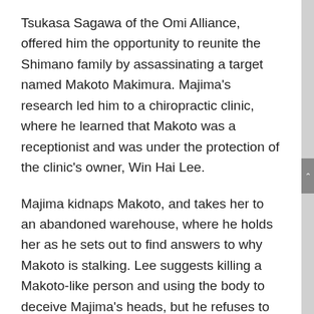Tsukasa Sagawa of the Omi Alliance, offered him the opportunity to reunite the Shimano family by assassinating a target named Makoto Makimura. Majima's research led him to a chiropractic clinic, where he learned that Makoto was a receptionist and was under the protection of the clinic's owner, Win Hai Lee.
Majima kidnaps Makoto, and takes her to an abandoned warehouse, where he holds her as he sets out to find answers to why Makoto is stalking. Lee suggests killing a Makoto-like person and using the body to deceive Majima's heads, but he refuses to do so; However, a patriarch named Homare Nishitani performs the verb in his stead, forcing Majima to lie to Sagawa about Makoto's murder. Later, Sagawa's men discover Majima's secret warehouse where Makoto is kept, forcing them and Lee to flee.